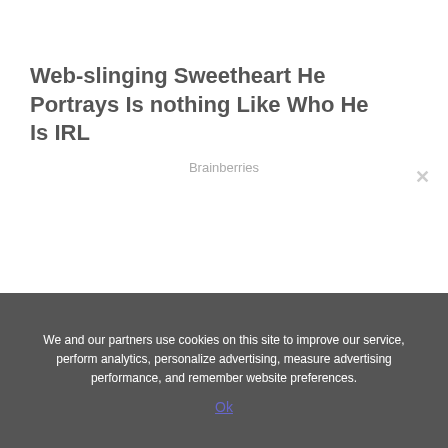Web-slinging Sweetheart He Portrays Is nothing Like Who He Is IRL
Brainberries
We and our partners use cookies on this site to improve our service, perform analytics, personalize advertising, measure advertising performance, and remember website preferences.
Ok